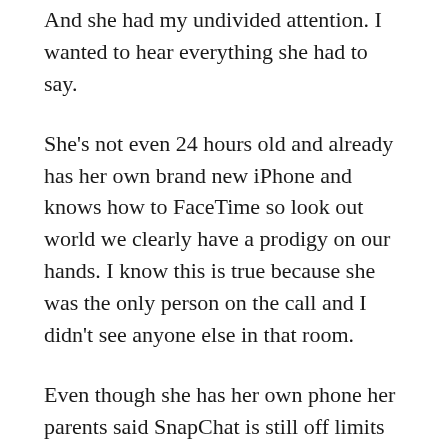And she had my undivided attention. I wanted to hear everything she had to say.
She’s not even 24 hours old and already has her own brand new iPhone and knows how to FaceTime so look out world we clearly have a prodigy on our hands. I know this is true because she was the only person on the call and I didn’t see anyone else in that room.
Even though she has her own phone her parents said SnapChat is still off limits which I fully agree with. She’s way too good for any of those trash social networks anyway so do not look for her on Twitter or Tik Tok cause sweet baby James is perfect and social media is the hardened gum on the underside of a diner table.
Anyway back to my very important conversation with sweet baby James…